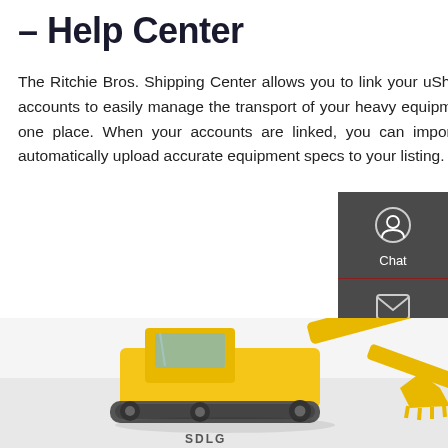– Help Center
The Ritchie Bros. Shipping Center allows you to link your uShip and Ritchie Bros. accounts to easily manage the transport of your heavy equipment purchases all in one place. When your accounts are linked, you can import lot information to automatically upload accurate equipment specs to your listing.
Get a Quote
[Figure (screenshot): Sidebar panel with Chat, Email, and Contact options on dark grey background]
[Figure (photo): Yellow SDLG heavy construction equipment / excavator at bottom of page]